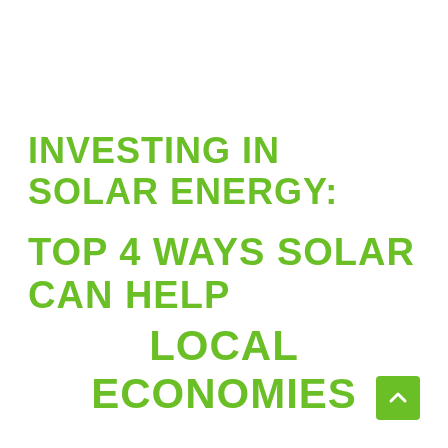INVESTING IN SOLAR ENERGY: TOP 4 WAYS SOLAR CAN HELP LOCAL ECONOMIES
[Figure (other): Green square button with upward-pointing chevron/arrow icon, positioned in the bottom-right corner]